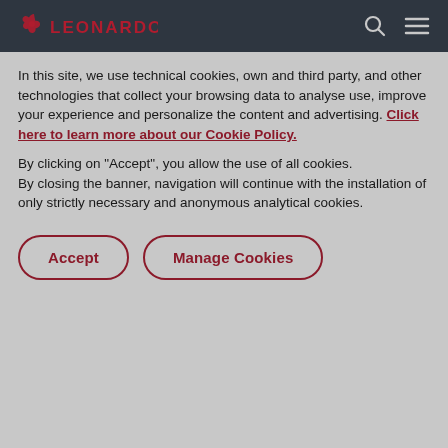Leonardo
In this site, we use technical cookies, own and third party, and other technologies that collect your browsing data to analyse use, improve your experience and personalize the content and advertising. Click here to learn more about our Cookie Policy.
By clicking on "Accept", you allow the use of all cookies.
By closing the banner, navigation will continue with the installation of only strictly necessary and anonymous analytical cookies.
Accept  Manage Cookies